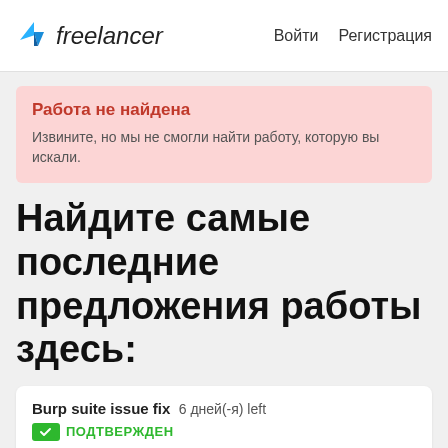freelancer  Войти  Регистрация
Работа не найдена
Извините, но мы не смогли найти работу, которую вы искали.
Найдите самые последние предложения работы здесь:
Burp suite issue fix  6 дней(-я) left
ПОДТВЕРЖДЕН

Hi, I have a website, where burp suite detect clear text